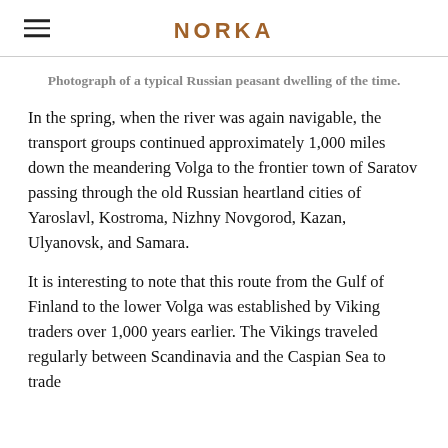NORKA
Photograph of a typical Russian peasant dwelling of the time.
In the spring, when the river was again navigable, the transport groups continued approximately 1,000 miles down the meandering Volga to the frontier town of Saratov passing through the old Russian heartland cities of Yaroslavl, Kostroma, Nizhny Novgorod, Kazan, Ulyanovsk, and Samara.
It is interesting to note that this route from the Gulf of Finland to the lower Volga was established by Viking traders over 1,000 years earlier. The Vikings traveled regularly between Scandinavia and the Caspian Sea to trade